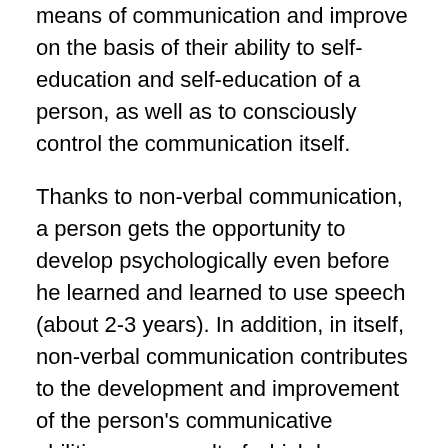means of communication and improve on the basis of their ability to self-education and self-education of a person, as well as to consciously control the communication itself.
Thanks to non-verbal communication, a person gets the opportunity to develop psychologically even before he learned and learned to use speech (about 2-3 years). In addition, in itself, non-verbal communication contributes to the development and improvement of the person's communicative abilities, as a result of which he becomes more able to interpersonal contacts and opens up wider opportunities for development.
As for verbal communication and its role in the